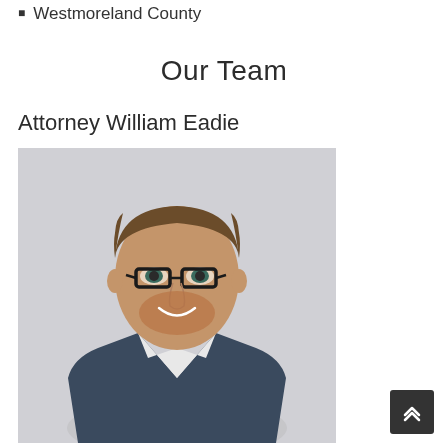Westmoreland County
Our Team
Attorney William Eadie
[Figure (photo): Professional headshot of Attorney William Eadie, a man with short brown hair, a beard, wearing glasses and a navy suit jacket with a white dress shirt, smiling against a light gray background.]